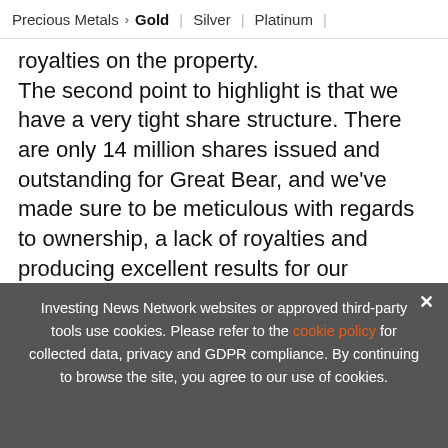Precious Metals > Gold | Silver | Platinum |
royalties on the property.
The second point to highlight is that we have a very tight share structure. There are only 14 million shares issued and outstanding for Great Bear, and we've made sure to be meticulous with regards to ownership, a lack of royalties and producing excellent results for our projects.
[Figure (infographic): Ad banner: Exclusive 2022 Precious Metals Outlook. Trends. Forecasts. Top Stocks. With arrow button and vertical orange bar.]
Investing News Network websites or approved third-party tools use cookies. Please refer to the cookie policy for collected data, privacy and GDPR compliance. By continuing to browse the site, you agree to our use of cookies.